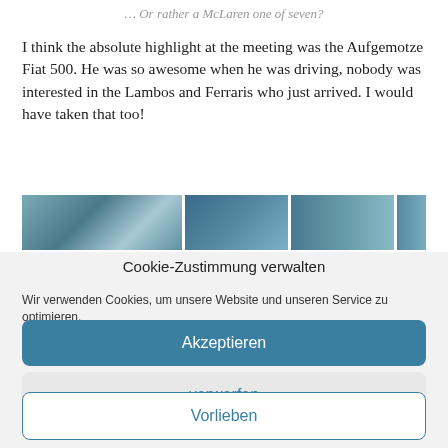… Or rather a McLaren one of seven?
I think the absolute highlight at the meeting was the Aufgemotze Fiat 500. He was so awesome when he was driving, nobody was interested in the Lambos and Ferraris who just arrived. I would have taken that too!
[Figure (photo): A horizontal strip of three car-related photos with a teal/blue color tone, showing vehicles and outdoor scenes.]
Cookie-Zustimmung verwalten
Wir verwenden Cookies, um unsere Website und unseren Service zu optimieren.
Akzeptieren
verwerfen
Vorlieben